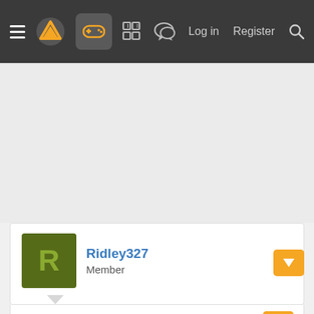Navigation bar with hamburger menu, logo, gamepad icon, grid icon, chat icon, Log in, Register, Search
[Figure (screenshot): Advertisement / blank gray area]
Ridley327
Member
Mar 3, 2013
mclem said: ↑
The character might be a rip-off, but the text suggests that the